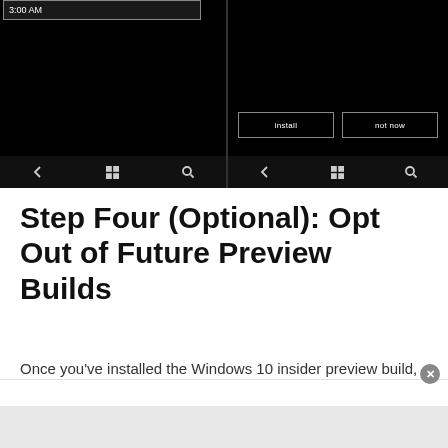[Figure (screenshot): Two Windows Phone screenshots side by side on black backgrounds. Left screen shows a '3:00 AM' time bar at top and navigation icons at bottom. Right screen shows 'install' and 'not now' buttons and navigation icons at bottom.]
Step Four (Optional): Opt Out of Future Preview Builds
Once you've installed the Windows 10 insider preview build, you can with...